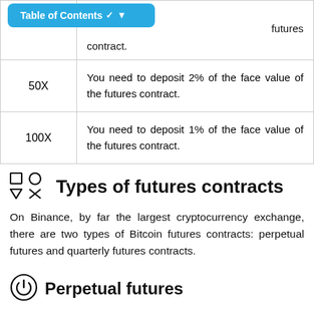| Leverage | Description |
| --- | --- |
|  | futures contract. |
| 50X | You need to deposit 2% of the face value of the futures contract. |
| 100X | You need to deposit 1% of the face value of the futures contract. |
Types of futures contracts
On Binance, by far the largest cryptocurrency exchange, there are two types of Bitcoin futures contracts: perpetual futures and quarterly futures contracts.
Perpetual futures